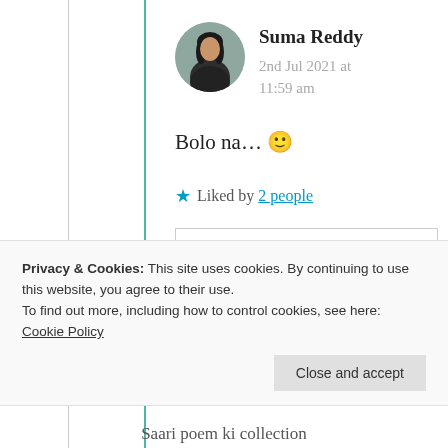[Figure (photo): Circular avatar photo of Suma Reddy]
Suma Reddy
2nd Jul 2021 at 11:59 am
Bolo na… 🙂
★ Liked by 2 people
Privacy & Cookies: This site uses cookies. By continuing to use this website, you agree to their use.
To find out more, including how to control cookies, see here: Cookie Policy
Close and accept
Saari poem ki collection